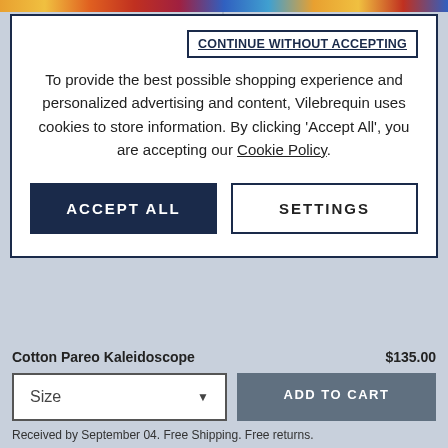[Figure (screenshot): Top colorful decorative banner strip with multicolor gradient pattern]
CONTINUE WITHOUT ACCEPTING
To provide the best possible shopping experience and personalized advertising and content, Vilebrequin uses cookies to store information. By clicking 'Accept All', you are accepting our Cookie Policy.
ACCEPT ALL
SETTINGS
$315.00
[Figure (photo): Red/coral long-sleeve sweater on light blue-grey background]
$165.00
[Figure (photo): Pink floral patterned top/blouse on light blue-grey background with chat button overlay]
CHAT
Cotton Pareo Kaleidoscope
$135.00
Size
ADD TO CART
Received by September 04. Free Shipping. Free returns.